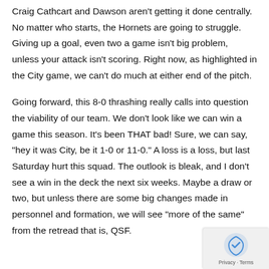Craig Cathcart and Dawson aren't getting it done centrally. No matter who starts, the Hornets are going to struggle. Giving up a goal, even two a game isn't big problem, unless your attack isn't scoring. Right now, as highlighted in the City game, we can't do much at either end of the pitch.
Going forward, this 8-0 thrashing really calls into question the viability of our team. We don't look like we can win a game this season. It's been THAT bad! Sure, we can say, "hey it was City, be it 1-0 or 11-0." A loss is a loss, but last Saturday hurt this squad. The outlook is bleak, and I don't see a win in the deck the next six weeks. Maybe a draw or two, but unless there are some big changes made in personnel and formation, we will see "more of the same" from the retread that is, QSF.